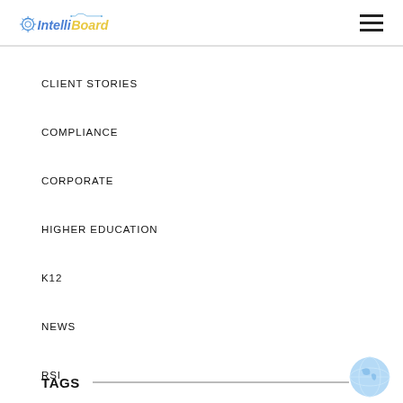IntelliBoard
CLIENT STORIES
COMPLIANCE
CORPORATE
HIGHER EDUCATION
K12
NEWS
RSI
TAGS